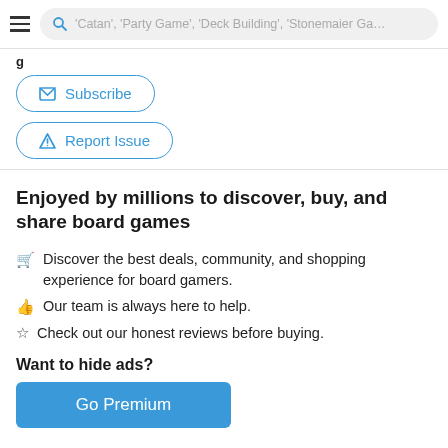'Catan', 'Party Game', 'Deck Building', 'Stonemaier Games'
Subscribe
Report Issue
Enjoyed by millions to discover, buy, and share board games
Discover the best deals, community, and shopping experience for board gamers.
Our team is always here to help.
Check out our honest reviews before buying.
Want to hide ads?
Go Premium